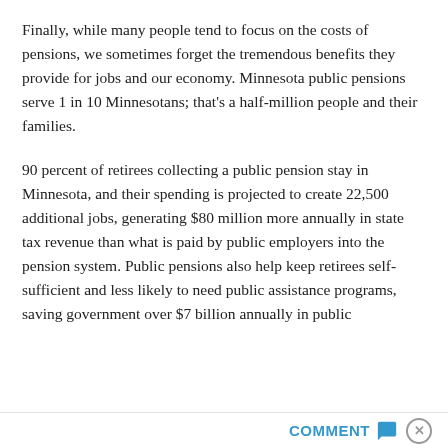Finally, while many people tend to focus on the costs of pensions, we sometimes forget the tremendous benefits they provide for jobs and our economy. Minnesota public pensions serve 1 in 10 Minnesotans; that's a half-million people and their families.
90 percent of retirees collecting a public pension stay in Minnesota, and their spending is projected to create 22,500 additional jobs, generating $80 million more annually in state tax revenue than what is paid by public employers into the pension system. Public pensions also help keep retirees self-sufficient and less likely to need public assistance programs, saving government over $7 billion annually in public…
COMMENT